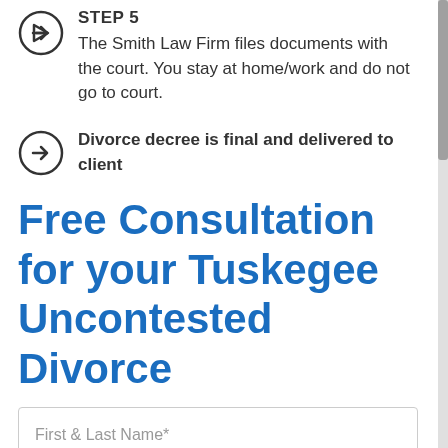STEP 5 — The Smith Law Firm files documents with the court. You stay at home/work and do not go to court.
Divorce decree is final and delivered to client
Free Consultation for your Tuskegee Uncontested Divorce
First & Last Name*